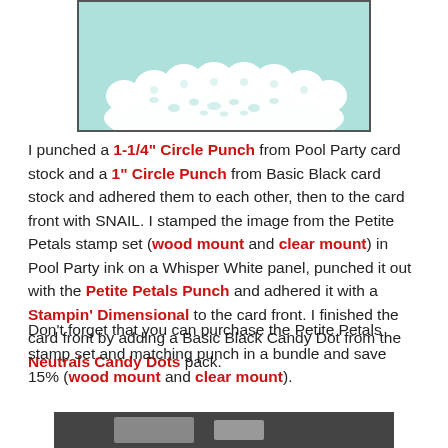[Figure (photo): Photo of a light teal/mint card with a white lace doily border along the bottom edge, shown against a dark background]
I punched a 1-1/4" Circle Punch from Pool Party card stock and a 1" Circle Punch from Basic Black card stock and adhered them to each other, then to the card front with SNAIL.  I stamped the image from the Petite Petals stamp set (wood mount and clear mount) in Pool Party ink on a Whisper White panel, punched it out with the Petite Petals Punch and adhered it with a Stampin' Dimensional to the card front.  I finished the card front by adding a Basic Black Candy Dot from the Neutrals Candy Dots pack.
Don't forget that you can purchase the Petite Petals stamp set and matching punch in a bundle and save 15% (wood mount and clear mount).
[Figure (photo): Partial photo visible at the bottom of the page]